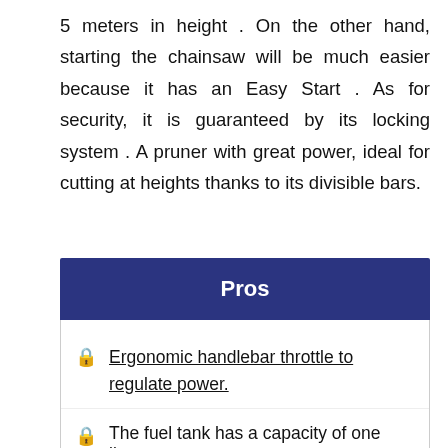5 meters in height . On the other hand, starting the chainsaw will be much easier because it has an Easy Start . As for security, it is guaranteed by its locking system . A pruner with great power, ideal for cutting at heights thanks to its divisible bars.
Pros
Ergonomic handlebar throttle to regulate power.
The fuel tank has a capacity of one liter